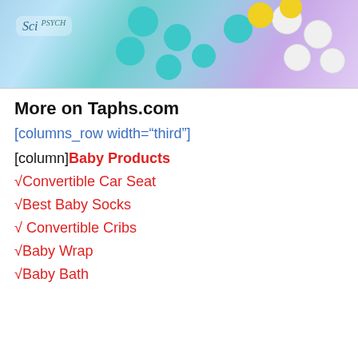[Figure (photo): Partial view of colorful pills and tablets on a pastel purple/blue background with a brand logo in the top left corner.]
More on Taphs.com
[columns_row width="third"]
[column]Baby Products
√Convertible Car Seat
√Best Baby Socks
√ Convertible Cribs
√Baby Wrap
√Baby Bath